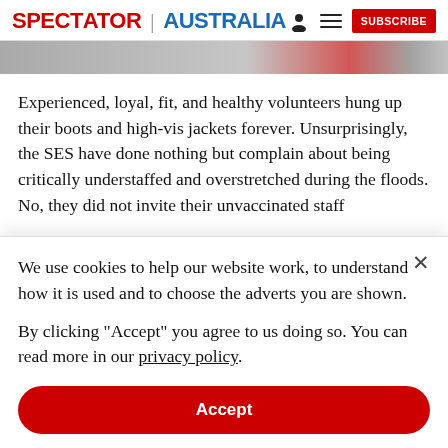SPECTATOR | AUSTRALIA  [person icon] [menu icon] SUBSCRIBE
[Figure (photo): Partial image strip showing a news article photo, partially visible at top of page]
Experienced, loyal, fit, and healthy volunteers hung up their boots and high-vis jackets forever. Unsurprisingly, the SES have done nothing but complain about being critically understaffed and overstretched during the floods. No, they did not invite their unvaccinated staff
We use cookies to help our website work, to understand how it is used and to choose the adverts you are shown.
By clicking "Accept" you agree to us doing so. You can read more in our privacy policy.
Accept